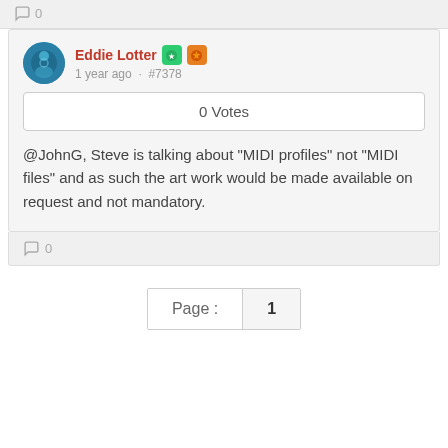0
Eddie Lotter
1 year ago · #7378
0 Votes
@JohnG, Steve is talking about "MIDI profiles" not "MIDI files" and as such the art work would be made available on request and not mandatory.
0
Page : 1